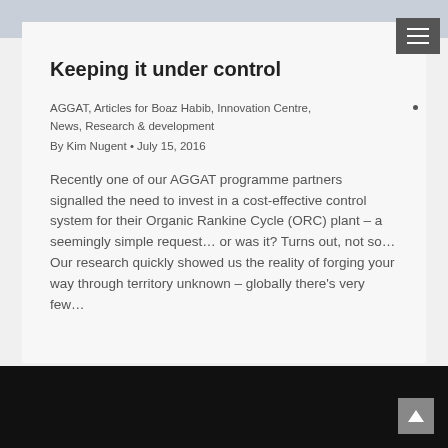[Figure (photo): Top portion of a group photo showing people in light-colored clothing, cropped at the top of the page]
Keeping it under control
AGGAT, Articles for Boaz Habib, Innovation Centre, News, Research & development
By Kim Nugent • July 15, 2016
Recently one of our AGGAT programme partners signalled the need to invest in a cost-effective control system for their Organic Rankine Cycle (ORC) plant – a seemingly simple request… or was it? Turns out, not so… Our research quickly showed us the reality of forging your way through territory unknown – globally there's very few…
[Figure (photo): Black rectangle at the bottom of the page, likely another image or video thumbnail]